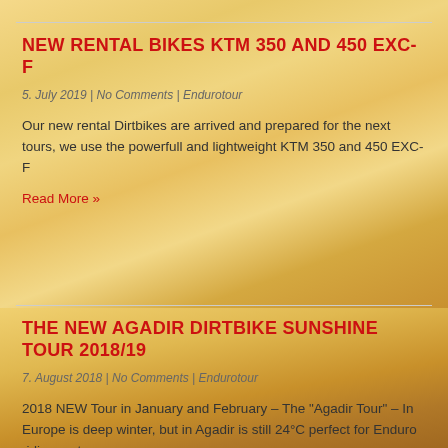NEW RENTAL BIKES KTM 350 AND 450 EXC-F
5. July 2019 | No Comments | Endurotour
Our new rental Dirtbikes are arrived and prepared for the next tours, we use the powerfull and lightweight KTM 350 and 450 EXC-F
Read More »
THE NEW AGADIR DIRTBIKE SUNSHINE TOUR 2018/19
7. August 2018 | No Comments | Endurotour
2018 NEW Tour in January and February – The "Agadir Tour" – In Europe is deep winter, but in Agadir is still 24°C perfect for Enduro riding, get your